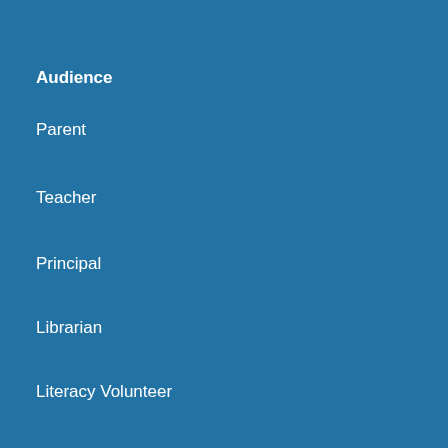Audience
Parent
Teacher
Principal
Librarian
Literacy Volunteer
Preschool Teacher
School Counselor
School Psychologist
Speech Pathologist
PBS Station
Blogs
Shanahan on Literacy
Right to Read